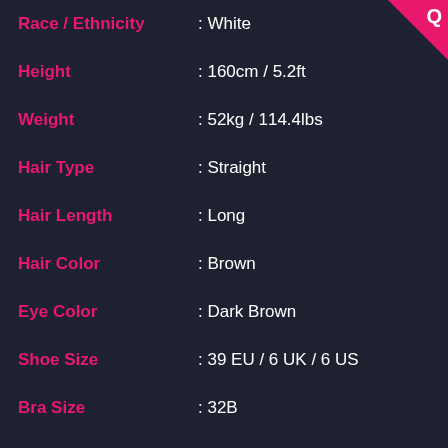Race / Ethnicity : White
Height : 160cm / 5.2ft
Weight : 52kg / 114.4lbs
Hair Type : Straight
Hair Length : Long
Hair Color : Brown
Eye Color : Dark Brown
Shoe Size : 39 EU / 6 UK / 6 US
Bra Size : 32B
Measurements : 34-24-34 in / 86-61-86 cm
Family
Marital Status : Single
Reliationship : Lukasz Witt Michalowski